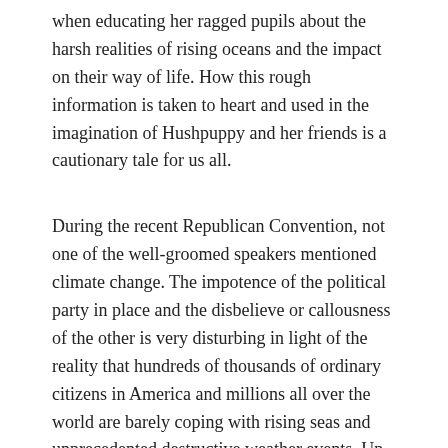when educating her ragged pupils about the harsh realities of rising oceans and the impact on their way of life. How this rough information is taken to heart and used in the imagination of Hushpuppy and her friends is a cautionary tale for us all.
During the recent Republican Convention, not one of the well-groomed speakers mentioned climate change. The impotence of the political party in place and the disbelieve or callousness of the other is very disturbing in light of the reality that hundreds of thousands of ordinary citizens in America and millions all over the world are barely coping with rising seas and unprecedented destructive weather events. Up on dry land aspiring politicians and those in power spew words like “believe, hope and jobs” but these ideals and conceptual jargon are not life rafts for the jobless, the homeless or displaced and they have floated the middle class into a puddle of confusion. Both parties, in my opinion, have